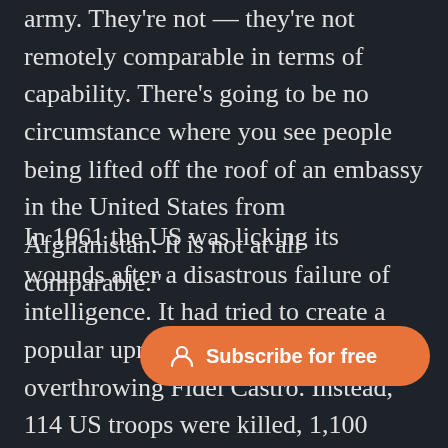army. They're not — they're not remotely comparable in terms of capability. There's going to be no circumstance where you see people being lifted off the roof of an embassy in the United States from Afghanistan. It is not at all comparable."
In 1961 the US was licking its wounds after a disastrous failure of intelligence. It had tried to create a popular uprising in Cuba, overthrowing Fidel Castro. Instead, 114 US troops were killed, 1,100 were held captive. That was the Bay of Pigs disaster — when US intelligence concluded that the Cuban people could be nudged into overthrowing the government. The intelligence was wrong — disastrously so. The Bay of Pigs incident, is often
[Figure (other): Orange rounded pill-shaped Subscribe for free button with a person/user icon on the left]